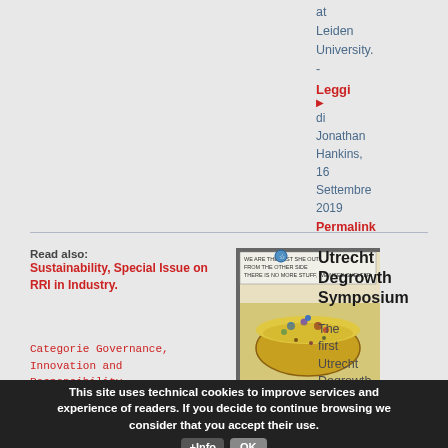at Leiden University. -
Leggi ▶
di Jonathan Hankins, 16 Settembre 2019
Permalink
Read also: Sustainability, Special Issue on RRI in Industry.
[Figure (illustration): Cartoon illustration of a bowl/pot with figures, text reading 'WE ARE THE LAST SHE OUT FROM THE OTHER SIDE THERE IS NO MORE STUFF, WE NEED SHELTER']
Utrecht Degrowth Symposium
Categorie Governance, Innovation and Responsibility, Innovation and politics, Practice, Responsibility and Science, Sustainability
The first Utrecht Degrowth Symposium was held
This site uses technical cookies to improve services and experience of readers. If you decide to continue browsing we consider that you accept their use.